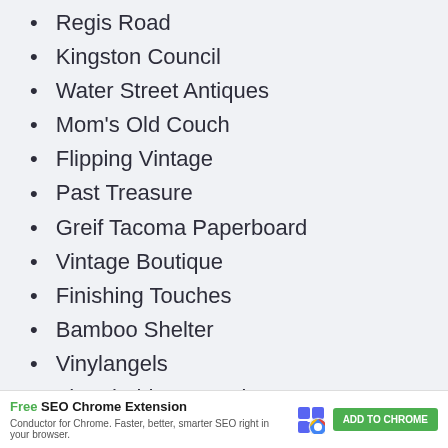Regis Road
Kingston Council
Water Street Antiques
Mom's Old Couch
Flipping Vintage
Past Treasure
Greif Tacoma Paperboard
Vintage Boutique
Finishing Touches
Bamboo Shelter
Vinylangels
Threshold Renovations
City Waste Collection
[Figure (screenshot): Free SEO Chrome Extension advertisement banner — Conductor for Chrome. Faster, better, smarter SEO right in your browser. ADD TO CHROME button.]